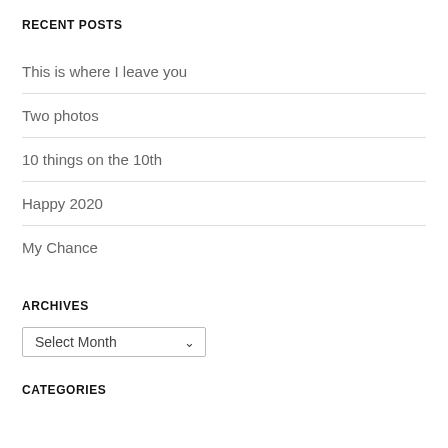RECENT POSTS
This is where I leave you
Two photos
10 things on the 10th
Happy 2020
My Chance
ARCHIVES
Select Month
CATEGORIES